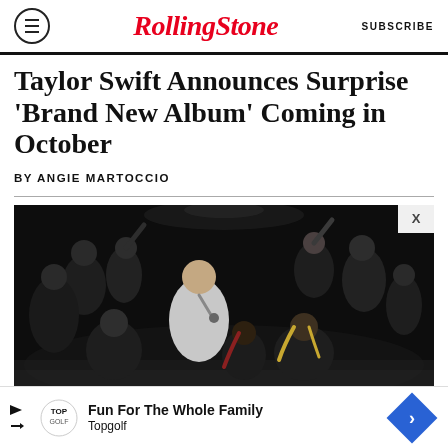RollingStone | SUBSCRIBE
Taylor Swift Announces Surprise 'Brand New Album' Coming in October
BY ANGIE MARTOCCIO
[Figure (photo): Performance photo of a male singer in a white jacket with microphone, surrounded by dancers dressed in black on a dark stage.]
Fun For The Whole Family Topgolf